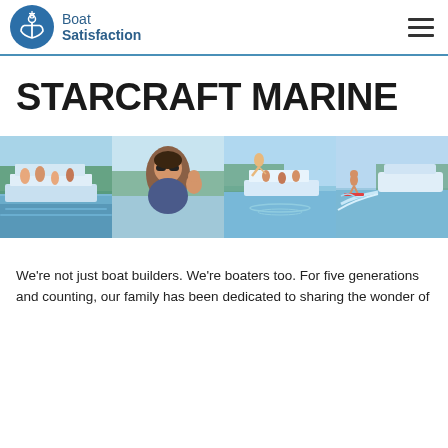Boat Satisfaction
STARCRAFT MARINE
[Figure (photo): A collage of four boating photos showing families and people enjoying pontoon boats and water sports on a lake.]
We're not just boat builders. We're boaters too. For five generations and counting, our family has been dedicated to sharing the wonder of